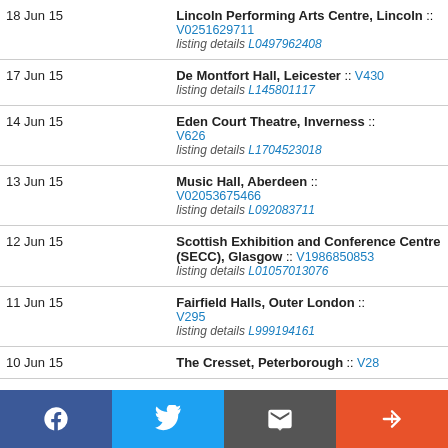| Date | Venue |
| --- | --- |
| 18 Jun 15 | Lincoln Performing Arts Centre, Lincoln :: V0251629711
listing details L0497962408 |
| 17 Jun 15 | De Montfort Hall, Leicester :: V430
listing details L145801117 |
| 14 Jun 15 | Eden Court Theatre, Inverness :: V626
listing details L1704523018 |
| 13 Jun 15 | Music Hall, Aberdeen :: V02053675466
listing details L092083711 |
| 12 Jun 15 | Scottish Exhibition and Conference Centre (SECC), Glasgow :: V1986850853
listing details L01057013076 |
| 11 Jun 15 | Fairfield Halls, Outer London :: V295
listing details L999194161 |
| 10 Jun 15 | The Cresset, Peterborough :: V28 |